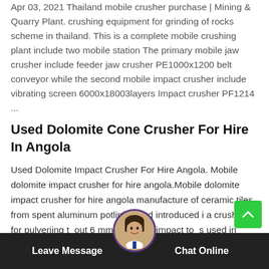Apr 03, 2021 Thailand mobile crusher purchase | Mining & Quarry Plant. crushing equipment for grinding of rocks scheme in thailand. This is a complete mobile crushing plant include two mobile station The primary mobile jaw crusher include feeder jaw crusher PE1000x1200 belt conveyor while the second mobile impact crusher include vibrating screen 6000x18003layers Impact crusher PF1214 ...
Used Dolomite Cone Crusher For Hire In Angola
Used Dolomite Impact Crusher For Hire Angola. Mobile dolomite impact crusher for hire angola.Mobile dolomite impact crusher for hire angola manufacture of ceramic tiles from spent aluminum potlining and introduced i a crusher for pulveriing t out 6 mm by use of impact to s used in pl e the r lti get price. Details